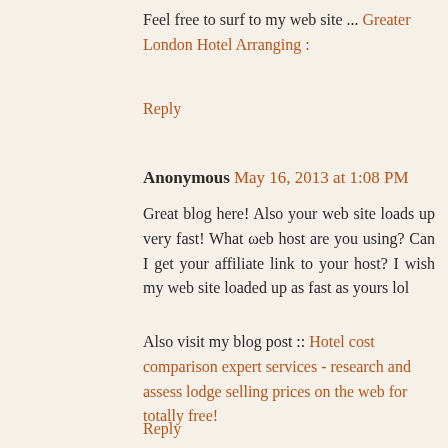Feel free to surf to my web site ... Greater London Hotel Arranging :
Reply
Anonymous May 16, 2013 at 1:08 PM
Great blog here! Also your web site loads up very fast! What ωeb host are you using? Can I get your affiliate link to your host? I wish my web site loaded up as fast as yours lol
Also visit my blog post :: Hotel cost comparison expert services - research and assess lodge selling prices on the web for totally free!
Reply
Anonymous May 16, 2013 at 5:28 PM
I got this website from my buddy who shared with me about this site and now this time I am visiting this web site and reading very informative posts at this time.